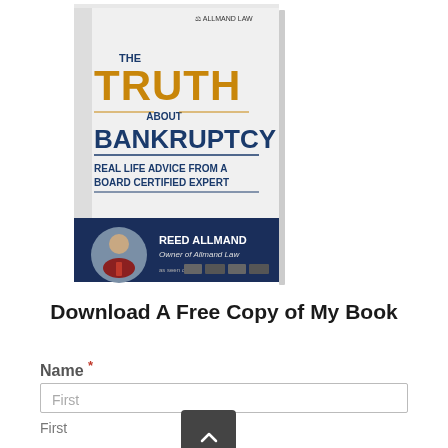[Figure (illustration): Book cover of 'The Truth About Bankruptcy – Real Life Advice from a Board Certified Expert' by Reed Allmand, Owner of Allmand Law. The cover features large gold text 'TRUTH' and dark blue text. The bottom section is dark navy with a circular author photo and logos.]
Download A Free Copy of My Book
Name *
First
First